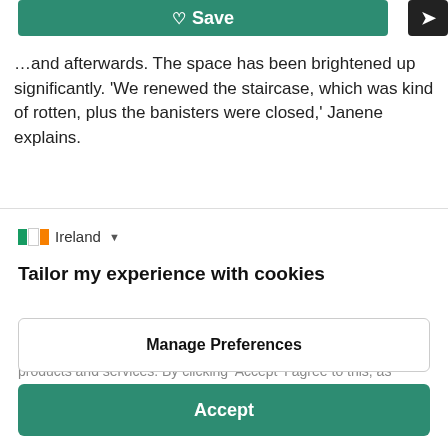[Figure (screenshot): Green Save button with heart icon and black share button on top bar]
…and afterwards. The space has been brightened up significantly. ‘We renewed the staircase, which was kind of rotten, plus the banisters were closed,’ Janene explains.
Ireland (dropdown)
Tailor my experience with cookies
Houzz uses cookies and similar technologies to personalise my experience, serve me relevant content, and improve Houzz products and services. By clicking ‘Accept’ I agree to this, as further described in the Houzz Cookie Policy. I can reject non-
Manage Preferences
Accept